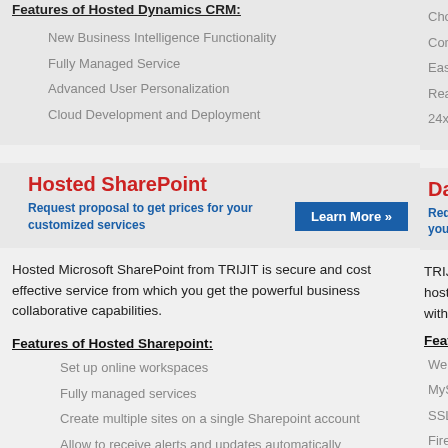Features of Hosted Dynamics CRM:
New Business Intelligence Functionality
Fully Managed Service
Advanced User Personalization
Cloud Development and Deployment
Hosted SharePoint
Request proposal to get prices for your customized services
Learn More »
Hosted Microsoft SharePoint from TRIJIT is secure and cost effective service from which you get the powerful business collaborative capabilities.
Features of Hosted Sharepoint:
Set up online workspaces
Fully managed services
Create multiple sites on a single Sharepoint account
Allow to receive alerts and updates automatically